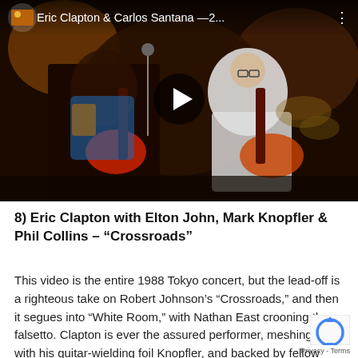[Figure (screenshot): Video thumbnail showing Eric Clapton and Carlos Santana playing guitars on stage, with a play button overlay and title bar reading 'Eric Clapton & Carlos Santana —2...' and a three-dot menu icon.]
8) Eric Clapton with Elton John, Mark Knopfler & Phil Collins – “Crossroads”
This video is the entire 1988 Tokyo concert, but the lead-off is a righteous take on Robert Johnson’s “Crossroads,” and then it segues into “White Room,” with Nathan East crooning the falsetto. Clapton is ever the assured performer, meshing well with his guitar-wielding foil Knopfler, and backed by fellow superstars Elton John and